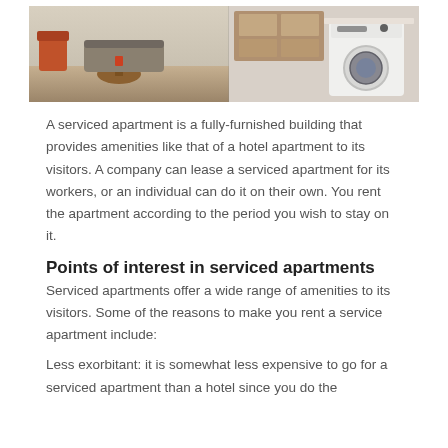[Figure (photo): Interior photo showing a serviced apartment — left side shows a living area with wooden furniture, a round table, and a chair; right side shows a kitchen/laundry area with a white washing machine and wooden cabinetry.]
A serviced apartment is a fully-furnished building that provides amenities like that of a hotel apartment to its visitors. A company can lease a serviced apartment for its workers, or an individual can do it on their own. You rent the apartment according to the period you wish to stay on it.
Points of interest in serviced apartments
Serviced apartments offer a wide range of amenities to its visitors. Some of the reasons to make you rent a service apartment include:
Less exorbitant: it is somewhat less expensive to go for a serviced apartment than a hotel since you do the